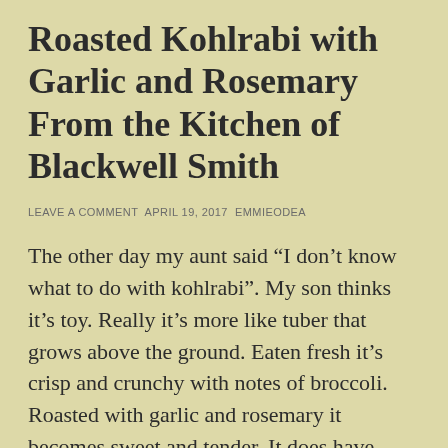Roasted Kohlrabi with Garlic and Rosemary From the Kitchen of Blackwell Smith
LEAVE A COMMENT APRIL 19, 2017 EMMIEODEA
The other day my aunt said “I don’t know what to do with kohlrabi”. My son thinks it’s toy. Really it’s more like tuber that grows above the ground. Eaten fresh it’s crisp and crunchy with notes of broccoli. Roasted with garlic and rosemary it becomes sweet and tender. It does have leaves, but we